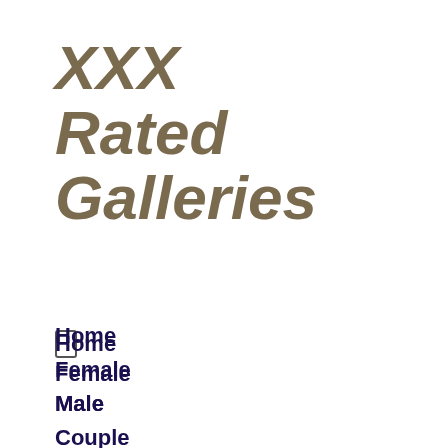XXX Rated Galleries
Home
Female
Male
Couple
Transgenders
Blog